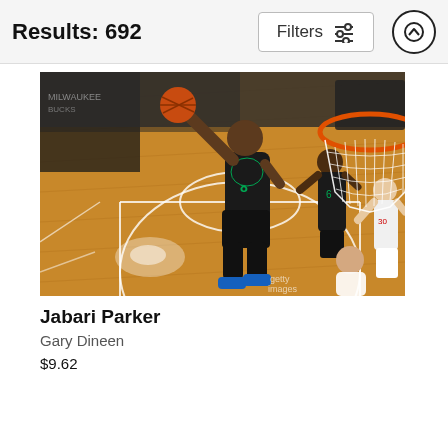Results: 692
[Figure (photo): Basketball game action shot from above showing Jabari Parker of the Milwaukee Bucks driving to the basket past defenders, with the basketball hoop/rim visible in the upper right corner. The court floor is visible below.]
Jabari Parker
Gary Dineen
$9.62